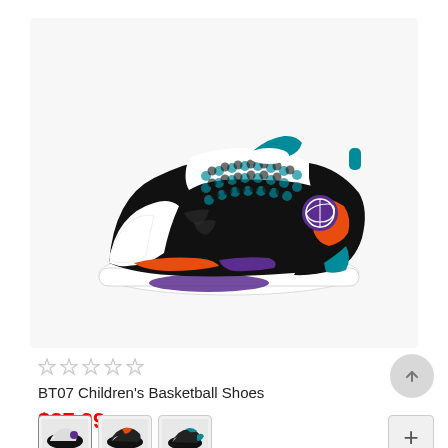[Figure (photo): BT07 Children's Basketball Shoe - high-top sneaker with black, white, teal, orange, and purple colorway, featuring a dot-pattern upper, teal pull tab, purple circular logo medallion, and orange/purple accents on the midsole.]
★ ★ ★ ★ ★ (empty/unfilled star rating, 5 stars)
BT07 Children's Basketball Shoes
$37.99
[Figure (photo): Three thumbnail images of the BT07 Children's Basketball Shoes from different angles]